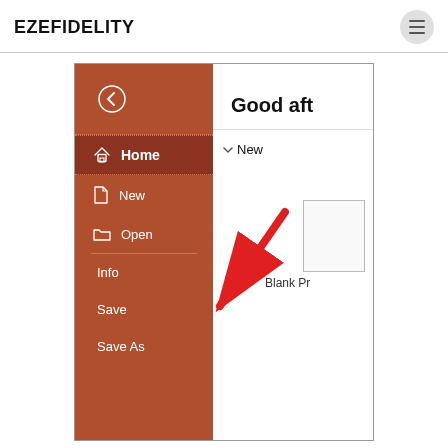EZEFIDELITY
[Figure (screenshot): Screenshot of a PowerPoint-style application showing the File menu sidebar open on the left with options: back arrow, Home (selected/highlighted), New, Open, Info, Save, Save As — all on a reddish-brown background. The right panel shows 'Good aft' (truncated), a 'New' section with a chevron, a blank presentation thumbnail, and 'Blank Pr' label. A red arrow points from upper-right area down-left toward the 'Info' menu item.]